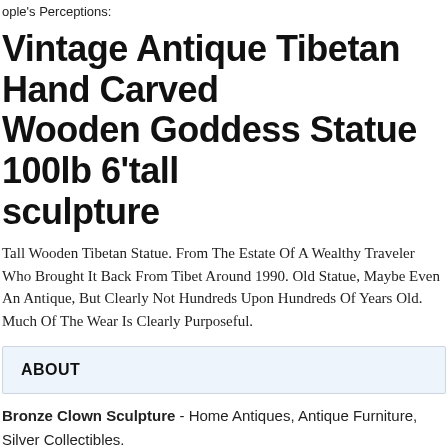ople's Perceptions:
Vintage Antique Tibetan Hand Carved Wooden Goddess Statue 100lb 6'tall sculpture
Tall Wooden Tibetan Statue. From The Estate Of A Wealthy Traveler Who Brought It Back From Tibet Around 1990. Old Statue, Maybe Even An Antique, But Clearly Not Hundreds Upon Hundreds Of Years Old. Much Of The Wear Is Clearly Purposeful.
ABOUT
Bronze Clown Sculpture - Home Antiques, Antique Furniture, Silver Collectibles.
SEARCH